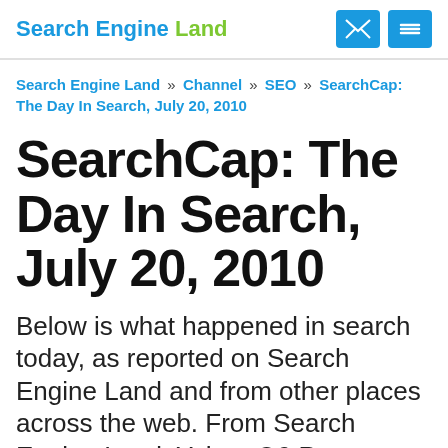Search Engine Land
Search Engine Land » Channel » SEO » SearchCap: The Day In Search, July 20, 2010
SearchCap: The Day In Search, July 20, 2010
Below is what happened in search today, as reported on Search Engine Land and from other places across the web. From Search Engine Land: Yahoo Q2 Revenues Flat, Display & Net Income Up Yahoo